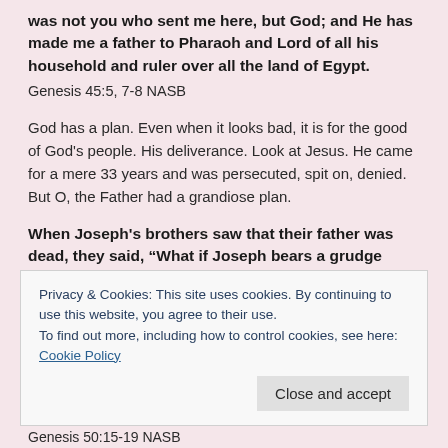was not you who sent me here, but God; and He has made me a father to Pharaoh and Lord of all his household and ruler over all the land of Egypt.
Genesis 45:5, 7-8 NASB
God has a plan. Even when it looks bad, it is for the good of God's people. His deliverance. Look at Jesus. He came for a mere 33 years and was persecuted, spit on, denied. But O, the Father had a grandiose plan.
When Joseph's brothers saw that their father was dead, they said, “What if Joseph bears a grudge against us and pays us back in full for all the wrong which we did to him!” So they sent a message to Joseph, saying, “Your father charged before he died, saying, ‘Thus you shall say to Joseph, “Please forgive, I beg you, the transgression of your brothers and their sin, for they did you
Privacy & Cookies: This site uses cookies. By continuing to use this website, you agree to their use.
To find out more, including how to control cookies, see here: Cookie Policy
Close and accept
Genesis 50:15-19 NASB